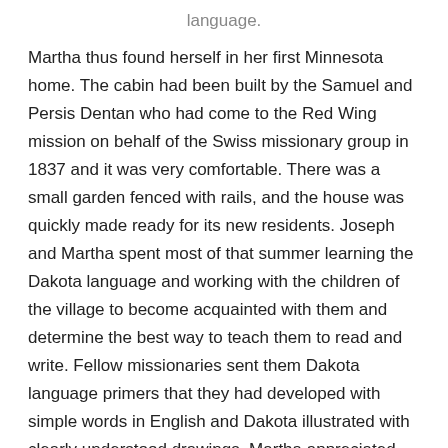language.
Martha thus found herself in her first Minnesota home. The cabin had been built by the Samuel and Persis Dentan who had come to the Red Wing mission on behalf of the Swiss missionary group in 1837 and it was very comfortable. There was a small garden fenced with rails, and the house was quickly made ready for its new residents. Joseph and Martha spent most of that summer learning the Dakota language and working with the children of the village to become acquainted with them and determine the best way to teach them to read and write. Fellow missionaries sent them Dakota language primers that they had developed with simple words in English and Dakota illustrated with clearly understood drawings. Martha appreciated the friendship and assistance that Nancy Aiton was able to provide. Nancy